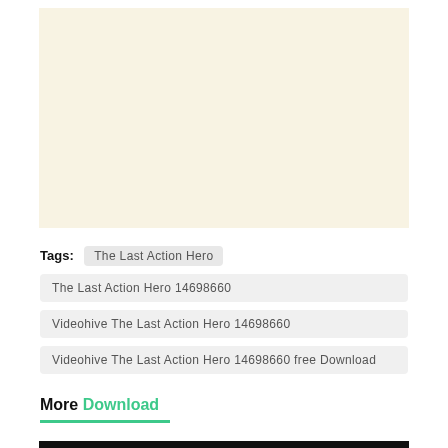[Figure (other): Beige/cream colored advertisement placeholder block]
Tags: The Last Action Hero
The Last Action Hero 14698660
Videohive The Last Action Hero 14698660
Videohive The Last Action Hero 14698660 free Download
More Download
[Figure (other): Dark colored image strip at the bottom of the page]